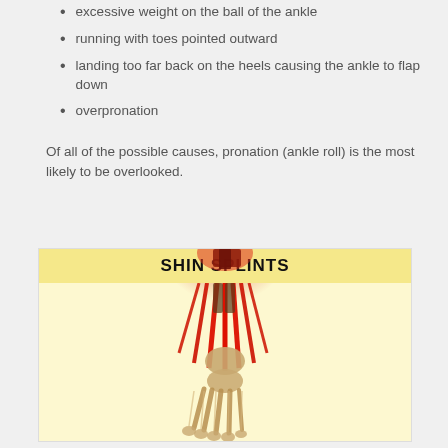excessive weight on the ball of the ankle
running with toes pointed outward
landing too far back on the heels causing the ankle to flap down
overpronation
Of all of the possible causes, pronation (ankle roll) is the most likely to be overlooked.
[Figure (illustration): Medical illustration of shin splints showing bones and muscles of the lower leg and foot with red highlighting indicating pain area, labeled 'SHIN SPLINTS']